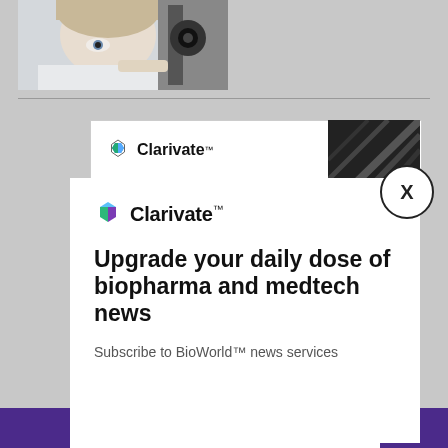[Figure (photo): Close-up photo of a child or patient's eye being examined with a slit lamp or ophthalmology device]
[Figure (screenshot): Partial Clarivate advertisement banner in background with dark architectural image on right side]
[Figure (logo): Clarivate logo with hexagon icon and close (X) button on modal]
Upgrade your daily dose of biopharma and medtech news
Subscribe to BioWorld™ news services